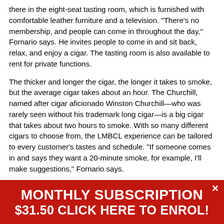there in the eight-seat tasting room, which is furnished with comfortable leather furniture and a television. "There's no membership, and people can come in throughout the day," Fornario says. He invites people to come in and sit back, relax, and enjoy a cigar. The tasting room is also available to rent for private functions.
The thicker and longer the cigar, the longer it takes to smoke, but the average cigar takes about an hour. The Churchill, named after cigar aficionado Winston Churchill—who was rarely seen without his trademark long cigar—is a big cigar that takes about two hours to smoke. With so many different cigars to choose from, the LMBCL experience can be tailored to every customer's tastes and schedule. "If someone comes in and says they want a 20-minute smoke, for example, I'll make suggestions," Fornario says.
Like many of Kennett Square's small business owners, Fornario's expertise matches his passion for his subject, and education is an important part of what he aims to do. There's a lot to learn, and Fornario enjoys talking cigars—with the novice or seasoned cigar
MONTHLY SUBSCRIPTION $31.50 Click Here to Enrol!